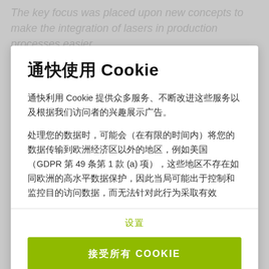The key focus was placed upon new concepts to make the integration of lasers in production processes easier.
通快使用 Cookie
通快利用 Cookie 提供众多服务、不断改进这些服务以及根据我们访问者的兴趣展示广告。
处理您的数据时，可能会（在有限的时间内）将您的数据传输到欧洲经济区以外的地区，例如美国（GDPR 第 49 条第 1 款 (a) 项），这些地区不存在如同欧洲的高水平数据保护，因此当局可能出于控制和监控目的访问数据，而无法针对此行为采取有效
设置
接受所有 COOKIE
数据保护
版本说明